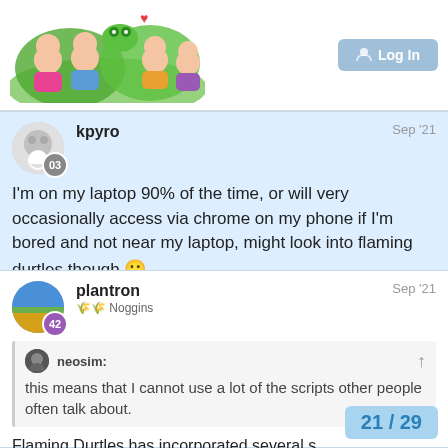[Figure (illustration): Forum header with illustrated characters and a blurred login button]
kpyro
Sep '21
03
I'm on my laptop 90% of the time, or will very occasionally access via chrome on my phone if I'm bored and not near my laptop, might look into flaming durtles though 🙂
plantron
Sep '21
🌾🌾 Noggins
42
neosim:
this means that I cannot use a lot of the scripts other people often talk about.
Flaming Durtles has incorporated several s
21 / 29